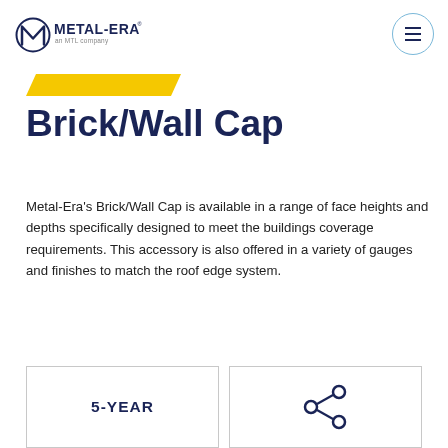Metal-Era an MTL company
[Figure (logo): Metal-Era logo with stylized M icon and 'an MTL company' tagline]
[Figure (other): Yellow diagonal decorative bar/stripe]
Brick/Wall Cap
Metal-Era's Brick/Wall Cap is available in a range of face heights and depths specifically designed to meet the buildings coverage requirements. This accessory is also offered in a variety of gauges and finishes to match the roof edge system.
5-YEAR
[Figure (illustration): Share/network icon with connected circles]